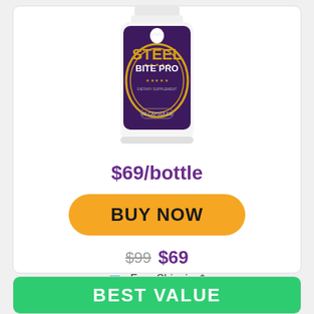[Figure (photo): Steel Bite Pro supplement bottle with purple and gold label, 60 capsules dietary supplement]
$69/bottle
BUY NOW
$99 $69
🚛 Free Shipping*
BEST VALUE